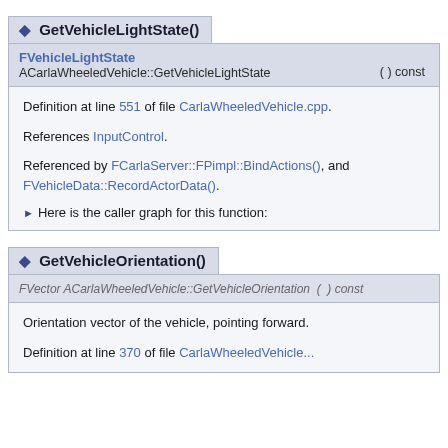GetVehicleLightState()
FVehicleLightState ACarlaWheeledVehicle::GetVehicleLightState ( ) const
Definition at line 551 of file CarlaWheeledVehicle.cpp.
References InputControl.
Referenced by FCarlaServer::FPimpl::BindActions(), and FVehicleData::RecordActorData().
Here is the caller graph for this function:
GetVehicleOrientation()
FVector ACarlaWheeledVehicle::GetVehicleOrientation ( ) const
Orientation vector of the vehicle, pointing forward.
Definition at line 370 of file CarlaWheeledVehicle...